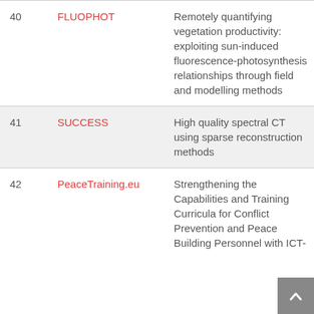| # | Name | Description |
| --- | --- | --- |
| 40 | FLUOPHOT | Remotely quantifying vegetation productivity: exploiting sun-induced fluorescence-photosynthesis relationships through field and modelling methods |
| 41 | SUCCESS | High quality spectral CT using sparse reconstruction methods |
| 42 | PeaceTraining.eu | Strengthening the Capabilities and Training Curricula for Conflict Prevention and Peace Building Personnel with ICT- |